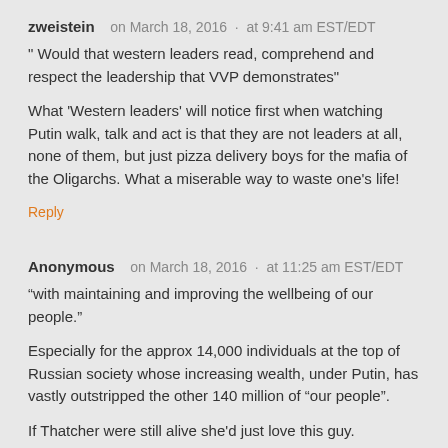zweistein   on March 18, 2016  ·  at 9:41 am EST/EDT
" Would that western leaders read, comprehend and respect the leadership that VVP demonstrates"
What 'Western leaders' will notice first when watching Putin walk, talk and act is that they are not leaders at all, none of them, but just pizza delivery boys for the mafia of the Oligarchs. What a miserable way to waste one's life!
Reply
Anonymous   on March 18, 2016  ·  at 11:25 am EST/EDT
“with maintaining and improving the wellbeing of our people.”
Especially for the approx 14,000 individuals at the top of Russian society whose increasing wealth, under Putin, has vastly outstripped the other 140 million of “our people”.
If Thatcher were still alive she'd just love this guy.
Reply